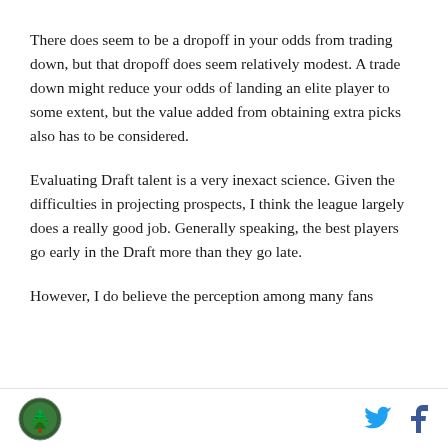There does seem to be a dropoff in your odds from trading down, but that dropoff does seem relatively modest. A trade down might reduce your odds of landing an elite player to some extent, but the value added from obtaining extra picks also has to be considered.
Evaluating Draft talent is a very inexact science. Given the difficulties in projecting prospects, I think the league largely does a really good job. Generally speaking, the best players go early in the Draft more than they go late.
However, I do believe the perception among many fans
[logo] [twitter] [facebook]